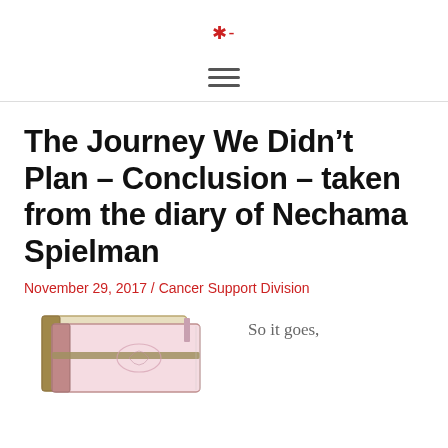*-
[Figure (logo): Red asterisk/star logo icon with a small dash]
[Figure (other): Hamburger menu icon (three horizontal lines)]
The Journey We Didn’t Plan – Conclusion – taken from the diary of Nechama Spielman
November 29, 2017 / Cancer Support Division
[Figure (illustration): Illustration of two stacked diary/journal books with decorative cover design, pink and cream colored]
So it goes,